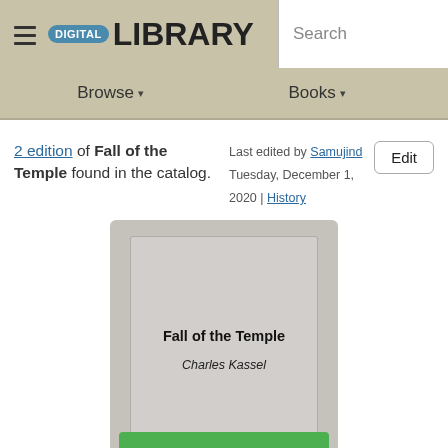≡ DIGITAL LIBRARY  Search
Browse ▾   Books ▾
2 edition of Fall of the Temple found in the catalog.
Last edited by Samujind  Tuesday, December 1, 2020 | History
Edit
[Figure (illustration): Book cover placeholder for 'Fall of the Temple' by Charles Kassel — gray cover with title and author text]
Fall of the Temple
Charles Kassel